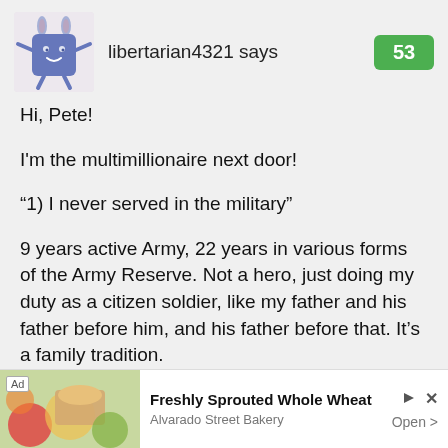[Figure (illustration): Avatar icon showing a blue cartoon square character with bunny ears and stick arms on a light pink/beige background]
libertarian4321 says
53
Hi, Pete!
I'm the multimillionaire next door!
“1) I never served in the military”
9 years active Army, 22 years in various forms of the Army Reserve. Not a hero, just doing my duty as a citizen soldier, like my father and his father before him, and his father before that. It’s a family tradition.
[Figure (photo): Advertisement image showing food items including bread and bowl]
Ad
Freshly Sprouted Whole Wheat
Alvarado Street Bakery
Open >